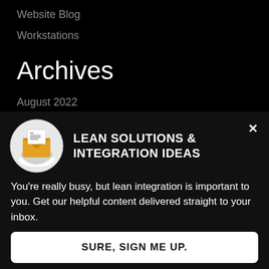Website Blog
Workstations
Archives
August 2022
December 2021
[Figure (illustration): Icon of a hand holding an envelope with a document inside, rendered in orange/yellow and grey tones on a circular background]
LEAN SOLUTIONS & INTEGRATION IDEAS
You're really busy, but lean integration is important to you. Get our helpful content delivered straight to your inbox.
SURE, SIGN ME UP.